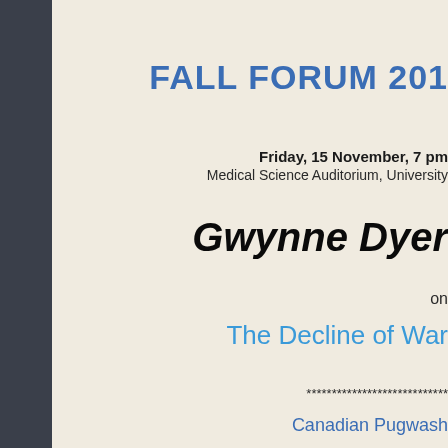FALL FORUM 201
Friday, 15 November, 7 pm
Medical Science Auditorium, University
Gwynne Dyer
on
The Decline of War
****************************
Canadian Pugwash